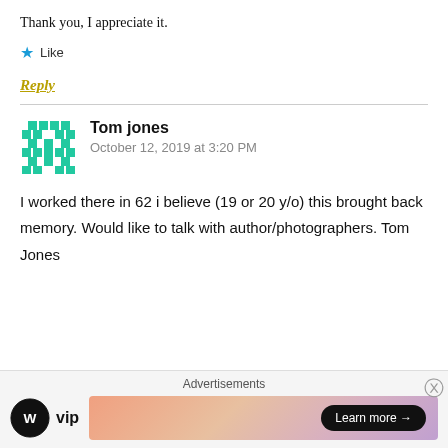Thank you, I appreciate it.
★ Like
Reply
Tom jones
October 12, 2019 at 3:20 PM
I worked there in 62 i believe (19 or 20 y/o) this brought back memory. Would like to talk with author/photographers. Tom Jones
[Figure (infographic): WordPress VIP advertisement banner with 'Learn more →' button]
Advertisements